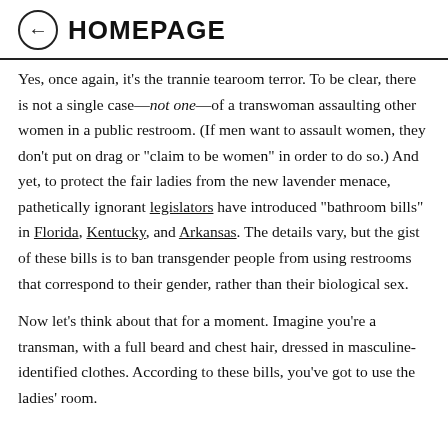HOMEPAGE
Yes, once again, it’s the trannie tearoom terror. To be clear, there is not a single case—not one—of a transwoman assaulting other women in a public restroom. (If men want to assault women, they don’t put on drag or “claim to be women” in order to do so.) And yet, to protect the fair ladies from the new lavender menace, pathetically ignorant legislators have introduced “bathroom bills” in Florida, Kentucky, and Arkansas. The details vary, but the gist of these bills is to ban transgender people from using restrooms that correspond to their gender, rather than their biological sex.
Now let’s think about that for a moment. Imagine you’re a transman, with a full beard and chest hair, dressed in masculine-identified clothes. According to these bills, you’ve got to use the ladies’ room.